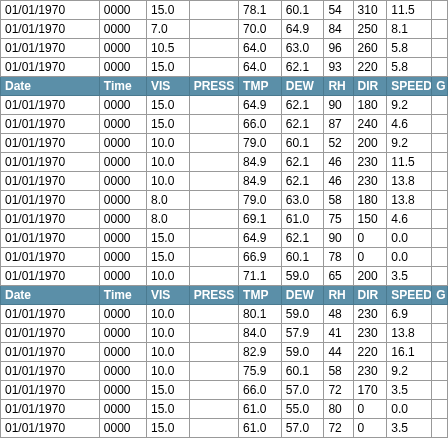| Date | Time | VIS | PRESS | TMP | DEW | RH | DIR | SPEED | G |
| --- | --- | --- | --- | --- | --- | --- | --- | --- | --- |
| 01/01/1970 | 0000 | 15.0 |  | 78.1 | 60.1 | 54 | 310 | 11.5 |  |
| 01/01/1970 | 0000 | 7.0 |  | 70.0 | 64.9 | 84 | 250 | 8.1 |  |
| 01/01/1970 | 0000 | 10.5 |  | 64.0 | 63.0 | 96 | 260 | 5.8 |  |
| 01/01/1970 | 0000 | 15.0 |  | 64.0 | 62.1 | 93 | 220 | 5.8 |  |
| HEADER | Time | VIS | PRESS | TMP | DEW | RH | DIR | SPEED | G |
| 01/01/1970 | 0000 | 15.0 |  | 64.9 | 62.1 | 90 | 180 | 9.2 |  |
| 01/01/1970 | 0000 | 15.0 |  | 66.0 | 62.1 | 87 | 240 | 4.6 |  |
| 01/01/1970 | 0000 | 10.0 |  | 79.0 | 60.1 | 52 | 200 | 9.2 |  |
| 01/01/1970 | 0000 | 10.0 |  | 84.9 | 62.1 | 46 | 230 | 11.5 |  |
| 01/01/1970 | 0000 | 10.0 |  | 84.9 | 62.1 | 46 | 230 | 13.8 |  |
| 01/01/1970 | 0000 | 8.0 |  | 79.0 | 63.0 | 58 | 180 | 13.8 |  |
| 01/01/1970 | 0000 | 8.0 |  | 69.1 | 61.0 | 75 | 150 | 4.6 |  |
| 01/01/1970 | 0000 | 15.0 |  | 64.9 | 62.1 | 90 | 0 | 0.0 |  |
| 01/01/1970 | 0000 | 15.0 |  | 66.9 | 60.1 | 78 | 0 | 0.0 |  |
| 01/01/1970 | 0000 | 10.0 |  | 71.1 | 59.0 | 65 | 200 | 3.5 |  |
| HEADER | Time | VIS | PRESS | TMP | DEW | RH | DIR | SPEED | G |
| 01/01/1970 | 0000 | 10.0 |  | 80.1 | 59.0 | 48 | 230 | 6.9 |  |
| 01/01/1970 | 0000 | 10.0 |  | 84.0 | 57.9 | 41 | 230 | 13.8 |  |
| 01/01/1970 | 0000 | 10.0 |  | 82.9 | 59.0 | 44 | 220 | 16.1 |  |
| 01/01/1970 | 0000 | 10.0 |  | 75.9 | 60.1 | 58 | 230 | 9.2 |  |
| 01/01/1970 | 0000 | 15.0 |  | 66.0 | 57.0 | 72 | 170 | 3.5 |  |
| 01/01/1970 | 0000 | 15.0 |  | 61.0 | 55.0 | 80 | 0 | 0.0 |  |
| 01/01/1970 | 0000 | 15.0 |  | 61.0 | 57.0 | 72 | 0 | 3.5 |  |